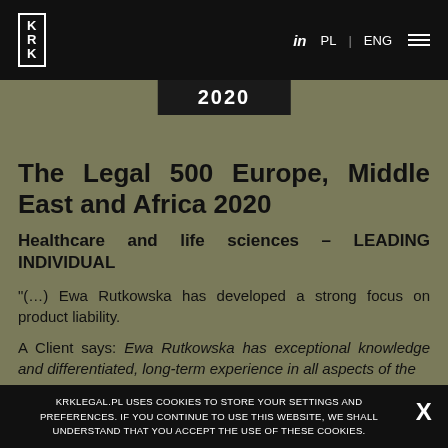KRK | in | PL | ENG
[Figure (screenshot): Website screenshot showing KRK legal firm page with navigation bar and olive/tan background with 2020 year banner]
The Legal 500 Europe, Middle East and Africa 2020
Healthcare and life sciences – LEADING INDIVIDUAL
"(...) Ewa Rutkowska has developed a strong focus on product liability.
A Client says: Ewa Rutkowska has exceptional knowledge and differentiated, long-term experience in all aspects of the
KRKLEGAL.PL USES COOKIES TO STORE YOUR SETTINGS AND PREFERENCES. IF YOU CONTINUE TO USE THIS WEBSITE, WE SHALL UNDERSTAND THAT YOU ACCEPT THE USE OF THESE COOKIES.